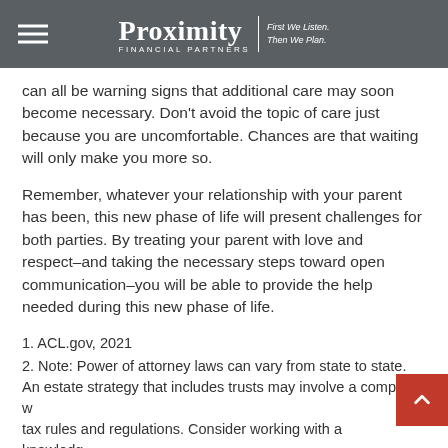Proximity Financial Partners — First We Listen. Then We Plan.
can all be warning signs that additional care may soon become necessary. Don't avoid the topic of care just because you are uncomfortable. Chances are that waiting will only make you more so.
Remember, whatever your relationship with your parent has been, this new phase of life will present challenges for both parties. By treating your parent with love and respect–and taking the necessary steps toward open communication–you will be able to provide the help needed during this new phase of life.
1. ACL.gov, 2021
2. Note: Power of attorney laws can vary from state to state. An estate strategy that includes trusts may involve a complex web of tax rules and regulations. Consider working with a knowledgeable estate management professional before implementing such strategies.